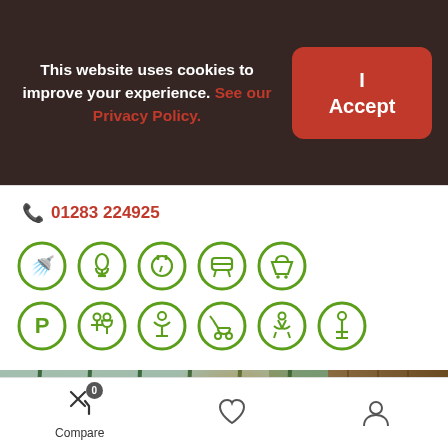This website uses cookies to improve your experience. See our Privacy Policy.
I Accept
📞 01283 224925
[Figure (infographic): Two rows of green circular icons representing amenities: shower, microphone, power outlet, seating, shopping basket (top row); parking, toilets, baby changing, pushchair, ride-on horses, child height indicator (bottom row)]
[Figure (photo): Children climbing on a rope net climbing frame at an outdoor adventure playground. Wooden log structure visible on the right side. Autumn trees in background.]
Compare
0